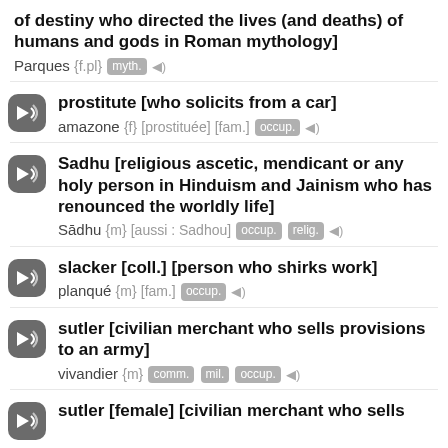of destiny who directed the lives (and deaths) of humans and gods in Roman mythology]
Parques {f.pl} myth. [sound]
prostitute [who solicits from a car]
amazone {f} [prostituée] [fam.] occup. [sound]
Sadhu [religious ascetic, mendicant or any holy person in Hinduism and Jainism who has renounced the worldly life]
Sādhu {m} [aussi : Sadhou] occup. relig. [sound]
slacker [coll.] [person who shirks work]
planqué {m} [fam.] occup. [sound]
sutler [civilian merchant who sells provisions to an army]
vivandier {m} comm. mil. occup. [sound]
sutler [female] [civilian merchant who sells